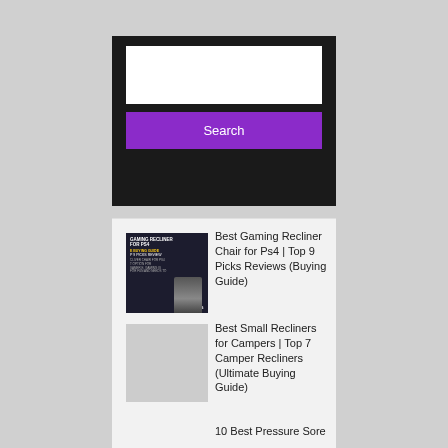[Figure (screenshot): Search widget with dark background, white input field, and purple Search button]
[Figure (photo): Gaming Recliner Chair for PS4 buying guide thumbnail image with dark background]
Best Gaming Recliner Chair for Ps4 | Top 9 Picks Reviews (Buying Guide)
Best Small Recliners for Campers | Top 7 Camper Recliners (Ultimate Buying Guide)
10 Best Pressure Sore